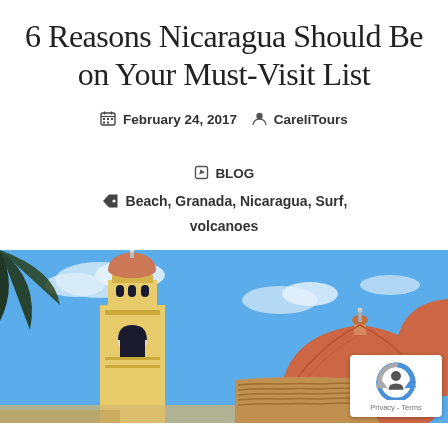6 Reasons Nicaragua Should Be on Your Must-Visit List
February 24, 2017   CareliTours   BLOG
Beach, Granada, Nicaragua, Surf, volcanoes
[Figure (photo): Photo of Granada, Nicaragua cathedral bell tower and dome against a blue sky with clouds]